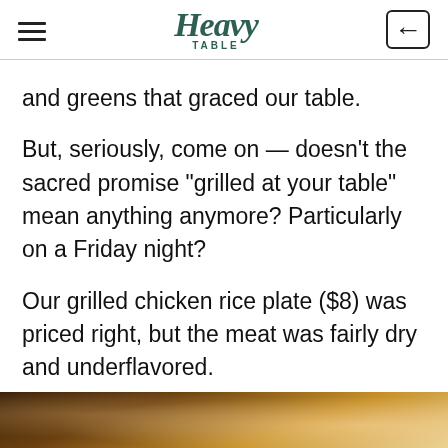Heavy Table
and greens that graced our table.
But, seriously, come on — doesn't the sacred promise “grilled at your table” mean anything anymore? Particularly on a Friday night?
Our grilled chicken rice plate ($8) was priced right, but the meat was fairly dry and underflavored.
[Figure (photo): Bottom strip showing a food photo, partially visible, with warm brown and golden tones suggesting a bowl or plate of food.]